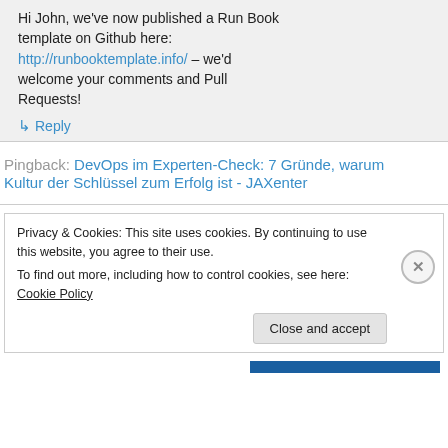Hi John, we've now published a Run Book template on Github here: http://runbooktemplate.info/ – we'd welcome your comments and Pull Requests!
↳ Reply
Pingback: DevOps im Experten-Check: 7 Gründe, warum Kultur der Schlüssel zum Erfolg ist - JAXenter
Privacy & Cookies: This site uses cookies. By continuing to use this website, you agree to their use. To find out more, including how to control cookies, see here: Cookie Policy
Close and accept